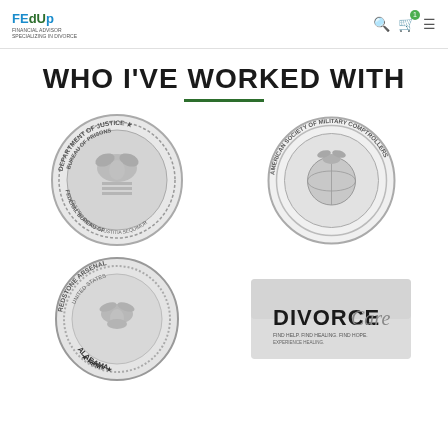FEdUp (logo with navigation icons)
WHO I'VE WORKED WITH
[Figure (logo): Department of Justice / Federal Bureau of Prisons circular seal, grayscale]
[Figure (logo): American Society of Military Comptrollers circular seal, grayscale]
[Figure (logo): Redstone Arsenal United States Army Alabama circular seal, grayscale]
[Figure (logo): DivorceCare logo with tagline, grayscale]